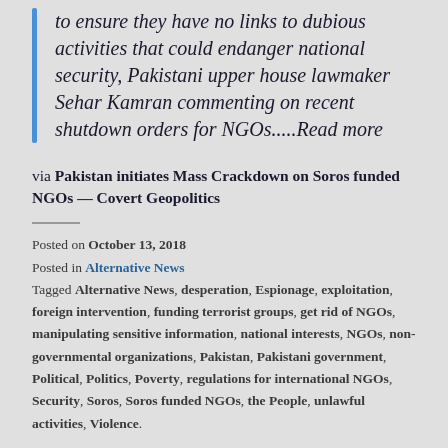to ensure they have no links to dubious activities that could endanger national security, Pakistani upper house lawmaker Sehar Kamran commenting on recent shutdown orders for NGOs.....Read more
via Pakistan initiates Mass Crackdown on Soros funded NGOs — Covert Geopolitics
Posted on October 13, 2018
Posted in Alternative News
Tagged Alternative News, desperation, Espionage, exploitation, foreign intervention, funding terrorist groups, get rid of NGOs, manipulating sensitive information, national interests, NGOs, non-governmental organizations, Pakistan, Pakistani government, Political, Politics, Poverty, regulations for international NGOs, Security, Soros, Soros funded NGOs, the People, unlawful activities, Violence.